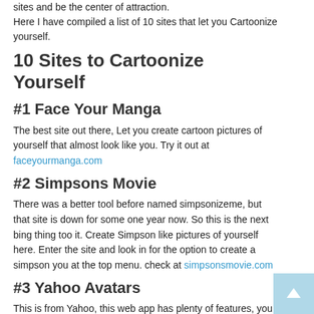sites and be the center of attraction. Here I have compiled a list of 10 sites that let you Cartoonize yourself.
10 Sites to Cartoonize Yourself
#1 Face Your Manga
The best site out there, Let you create cartoon pictures of yourself that almost look like you. Try it out at faceyourmanga.com
#2 Simpsons Movie
There was a better tool before named simpsonizeme, but that site is down for some one year now. So this is the next bing thing too it. Create Simpson like pictures of yourself here. Enter the site and look in for the option to create a simpson you at the top menu. check at simpsonsmovie.com
#3 Yahoo Avatars
This is from Yahoo, this web app has plenty of features, you have wide varieties of accessories to choose from. This can be a pretty interesting thing to meddle with in your free time. Check at avatars.yahoo.com